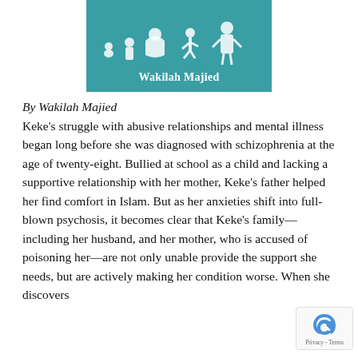[Figure (illustration): Book cover with teal/turquoise background showing silhouettes of people at various life stages (child crawling, toddler, child in hijab, adult woman, running child, standing adult) and author name 'Wakilah Majied' in white text]
By Wakilah Majied
Keke's struggle with abusive relationships and mental illness began long before she was diagnosed with schizophrenia at the age of twenty-eight. Bullied at school as a child and lacking a supportive relationship with her mother, Keke's father helped her find comfort in Islam. But as her anxieties shift into full-blown psychosis, it becomes clear that Keke's family—including her husband, and her mother, who is accused of poisoning her—are not only unable provide the support she needs, but are actively making her condition worse. When she discovers